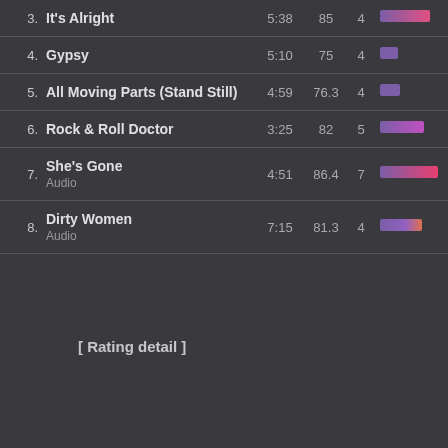| # | Track | Duration | Score | Stars | Rating bar |
| --- | --- | --- | --- | --- | --- |
| 3. | It's Alright | 5:38 | 85 | 4 | gradient-bar |
| 4. | Gypsy | 5:10 | 75 | 4 | small-purple |
| 5. | All Moving Parts (Stand Still) | 4:59 | 76.3 | 4 | small-purple |
| 6. | Rock & Roll Doctor | 3:25 | 82 | 5 | gradient-bar |
| 7. | She's Gone / Audio | 4:51 | 86.4 | 7 | gradient-bar-pink |
| 8. | Dirty Women / Audio | 7:15 | 81.3 | 4 | gradient-bar |
[ Rating detail ]